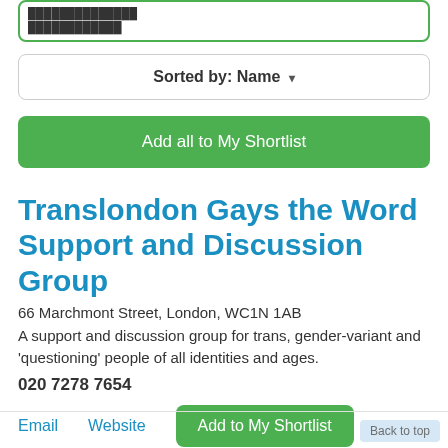[Figure (screenshot): Partially visible top box with green border showing truncated text lines]
Sorted by: Name ▾
Add all to My Shortlist
Translondon Gays the Word Support and Discussion Group
66 Marchmont Street, London, WC1N 1AB
A support and discussion group for trans, gender-variant and 'questioning' people of all identities and ages.
020 7278 7654
Email   Website   Add to My Shortlist